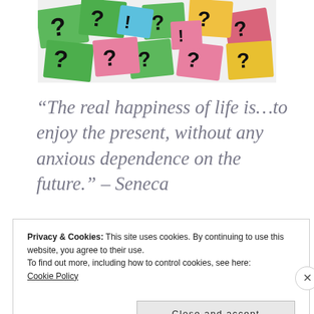[Figure (photo): Colorful sticky notes (green, pink, yellow, blue) with question marks and exclamation points scattered on them.]
“The real happiness of life is…to enjoy the present, without any anxious dependence on the future.” – Seneca
I was dropping my daughter off for an outdoor class the other day and she was
Privacy & Cookies: This site uses cookies. By continuing to use this website, you agree to their use.
To find out more, including how to control cookies, see here:
Cookie Policy
Close and accept